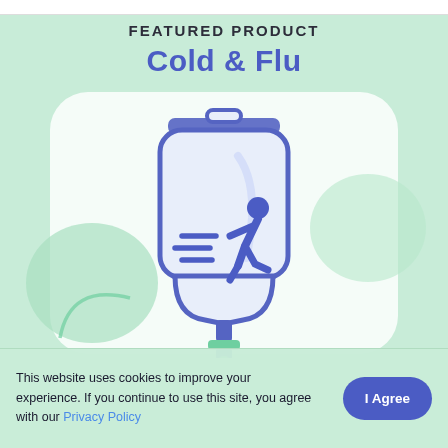FEATURED PRODUCT
Cold & Flu
[Figure (illustration): IV drip bag illustration with a running person icon inside, on a light mint/white rounded-rectangle background with decorative blob shapes]
This website uses cookies to improve your experience. If you continue to use this site, you agree with our Privacy Policy